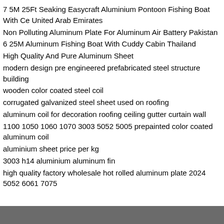7 5M 25Ft Seaking Easycraft Aluminium Pontoon Fishing Boat With Ce United Arab Emirates
Non Polluting Aluminum Plate For Aluminum Air Battery Pakistan
6 25M Aluminum Fishing Boat With Cuddy Cabin Thailand
High Quality And Pure Aluminum Sheet
modern design pre engineered prefabricated steel structure building
wooden color coated steel coil
corrugated galvanized steel sheet used on roofing
aluminum coil for decoration roofing ceiling gutter curtain wall
1100 1050 1060 1070 3003 5052 5005 prepainted color coated aluminum coil
aluminium sheet price per kg
3003 h14 aluminium aluminum fin
high quality factory wholesale hot rolled aluminum plate 2024 5052 6061 7075